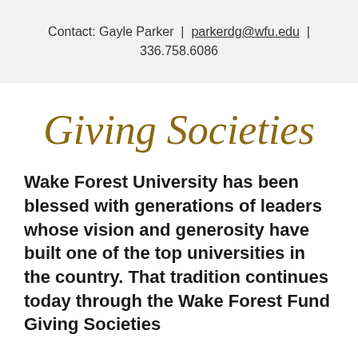Contact: Gayle Parker | parkerdg@wfu.edu | 336.758.6086
Giving Societies
Wake Forest University has been blessed with generations of leaders whose vision and generosity have built one of the top universities in the country. That tradition continues today through the Wake Forest Fund Giving Societies